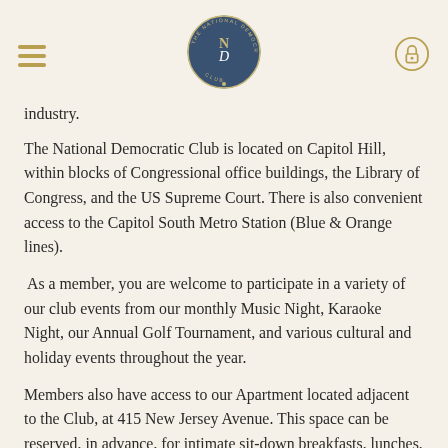[hamburger menu] [National Democratic Club logo] [lock icon]
industry.
The National Democratic Club is located on Capitol Hill, within blocks of Congressional office buildings, the Library of Congress, and the US Supreme Court. There is also convenient access to the Capitol South Metro Station (Blue & Orange lines).
As a member, you are welcome to participate in a variety of our club events from our monthly Music Night, Karaoke Night, our Annual Golf Tournament, and various cultural and holiday events throughout the year.
Members also have access to our Apartment located adjacent to the Club, at 415 New Jersey Avenue. This space can be reserved, in advance, for intimate sit-down breakfasts, lunches, meetings, as well as for stand-up receptions. Other amenities available to